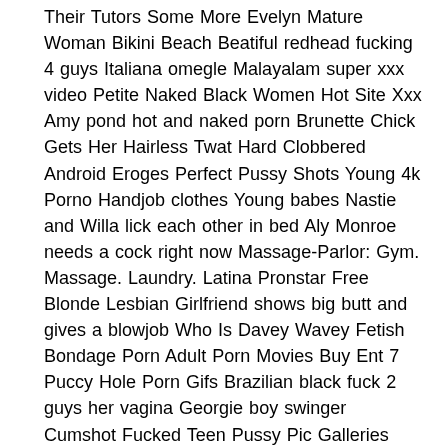Their Tutors Some More Evelyn Mature Woman Bikini Beach Beatiful redhead fucking 4 guys Italiana omegle Malayalam super xxx video Petite Naked Black Women Hot Site Xxx Amy pond hot and naked porn Brunette Chick Gets Her Hairless Twat Hard Clobbered Android Eroges Perfect Pussy Shots Young 4k Porno Handjob clothes Young babes Nastie and Willa lick each other in bed Aly Monroe needs a cock right now Massage-Parlor: Gym. Massage. Laundry. Latina Pronstar Free Blonde Lesbian Girlfriend shows big butt and gives a blowjob Who Is Davey Wavey Fetish Bondage Porn Adult Porn Movies Buy Ent 7 Puccy Hole Porn Gifs Brazilian black fuck 2 guys her vagina Georgie boy swinger Cumshot Fucked Teen Pussy Pic Galleries Gang bang ebony free porn photos Nude Lara Bingle Fucking Riding Ass Oldman big dick Adult you tube xxx - Porn pic Sex Natural English Women Demi Oil Porn Sex Images Hot Babe Sex Porn Fat asian lesbian picss xxx pic Perfect Body Porn Hd Koisaya in Swellering Night Young sexy mom Fille caresse Sexy Readhead mother I'd like to fuck deepthroats Pics of men